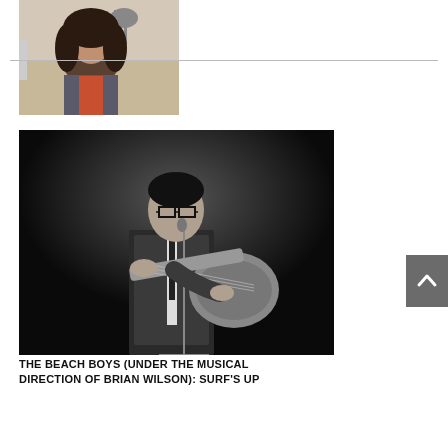[Figure (photo): Portrait photo of a person with long dark wavy hair wearing a jacket, standing outdoors with a horse statue in the background]
[Figure (photo): Black and white photo of a musician with glasses wearing a suit and tie, playing an electric guitar at a microphone stand on stage]
THE BEACH BOYS (UNDER THE MUSICAL DIRECTION OF BRIAN WILSON): SURF'S UP